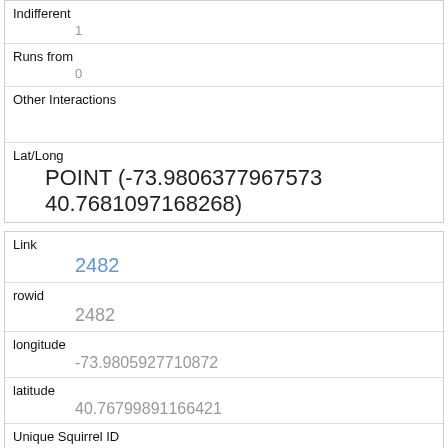| Indifferent | 1 |
| Runs from | 0 |
| Other Interactions |  |
| Lat/Long | POINT (-73.9806377967573 40.7681097168268) |
| Link | 2482 |
| rowid | 2482 |
| longitude | -73.9805927710872 |
| latitude | 40.76799891166421 |
| Unique Squirrel ID | 1B-PM-1019-07 |
| Hectare |  |